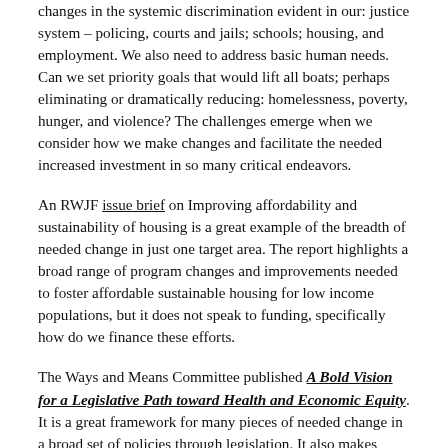changes in the systemic discrimination evident in our: justice system – policing, courts and jails; schools; housing, and employment. We also need to address basic human needs. Can we set priority goals that would lift all boats; perhaps eliminating or dramatically reducing: homelessness, poverty, hunger, and violence? The challenges emerge when we consider how we make changes and facilitate the needed increased investment in so many critical endeavors.
An RWJF issue brief on Improving affordability and sustainability of housing is a great example of the breadth of needed change in just one target area. The report highlights a broad range of program changes and improvements needed to foster affordable sustainable housing for low income populations, but it does not speak to funding, specifically how do we finance these efforts.
The Ways and Means Committee published A Bold Vision for a Legislative Path toward Health and Economic Equity. It is a great framework for many pieces of needed change in a broad set of policies through legislation. It also makes clear the extraordinary amount of change that is needed. Yet it is arguably only the first of many steps. It embraces many